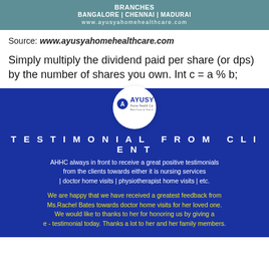[Figure (infographic): Teal banner with BRANCHES label, BANGALORE | CHENNAI | MADURAI cities, and www.ayusyahomehealthcare.com website URL]
Source: www.ayusyahomehealthcare.com
Simply multiply the dividend paid per share (or dps) by the number of shares you own. Int c = a % b;
[Figure (infographic): Blue promotional card for Ayusya Home Health Care with Ayusya logo in white circle, TESTIMONIAL FROM CLIENT heading, white text about AHHC testimonials, and yellow text about Ms.Rachel Bates feedback]